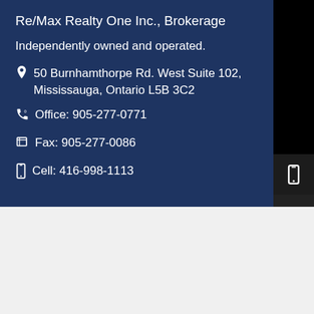Re/Max Realty One Inc., Brokerage
Independently owned and operated.
50 Burnhamthorpe Rd. West Suite 102, Mississauga, Ontario L5B 3C2
Office: 905-277-0771
Fax: 905-277-0086
Cell: 416-998-1113
The data contained on these pages is provided purely for reference purposes. Due care has been exercised to ensure that the statements contained here are fully accurate, but no liability exists for the misuse of any data, information, facts, figures, or any other elements; as well as for any errors, omissions, deficiencies, defects, or typos